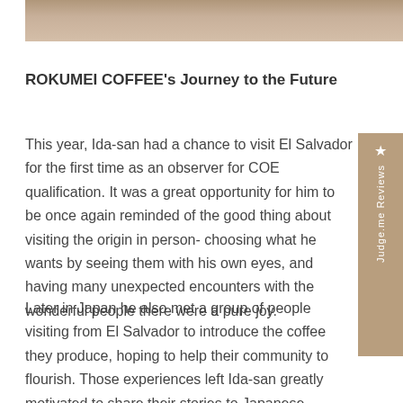[Figure (photo): Partial top photo strip showing a light wood floor and people standing, cropped at top of page]
ROKUMEI COFFEE's Journey to the Future
This year, Ida-san had a chance to visit El Salvador for the first time as an observer for COE qualification. It was a great opportunity for him to be once again reminded of the good thing about visiting the origin in person- choosing what he wants by seeing them with his own eyes, and having many unexpected encounters with the wonderful people there were a pure joy.
Later in Japan he also met a group of people visiting from El Salvador to introduce the coffee they produce, hoping to help their community to flourish. Those experiences left Ida-san greatly motivated to share their stories to Japanese customers.